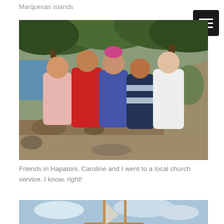Marquesas islands
[Figure (photo): Five women standing together outdoors in Hapatoni, Marquesas Islands. They are smiling under large trees near a rocky shoreline. One woman in the center wears a pink floral headpiece and a blue dress. Another wears a red and white floral dress. The others wear casual summer clothes.]
Friends in Hapatoni. Caroline and I went to a local church service. I know, right!
[Figure (photo): Partial view of a sailing boat with tall masts against a blue sky with clouds.]